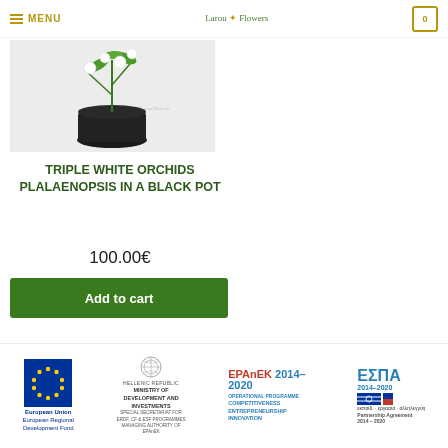MENU  Larou Flowers  0
[Figure (photo): Photo of triple white orchids phalaenopsis in a black pot against a light grey background, with a small logo watermark]
TRIPLE WHITE ORCHIDS PLALAENOPSIS IN A BLACK POT
100.00€
Add to cart
[Figure (logo): Footer containing four logos: European Union / European Regional Development Fund, Hellenic Republic Ministry of Development and Investments, EPAnEK 2014-2020 Operational Programme Competitiveness Entrepreneurship Innovation, ΕΣΠΑ 2014-2020 Partnership Agreement]